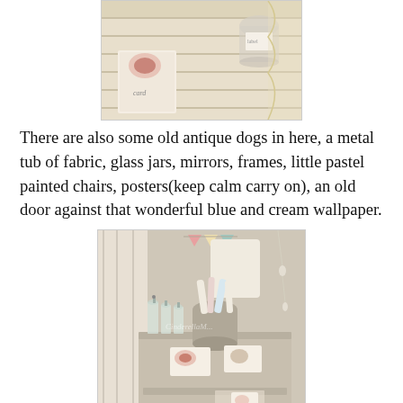[Figure (photo): Top portion of a photo showing a shabby chic styled flat lay scene on a light wooden surface with decorative cards and a jar, partially cropped.]
There are also some old antique dogs in here, a metal tub of fabric, glass jars, mirrors, frames, little pastel painted chairs, posters(keep calm carry on), an old door against that wonderful blue and cream wallpaper.
[Figure (photo): A shabby chic styled miniature or display scene showing a small table with glass bottles, rolled papers in a metal container, floral cards, and a small blue and white teacup saucer, with vintage bunting in the background and whitewashed wooden elements.]